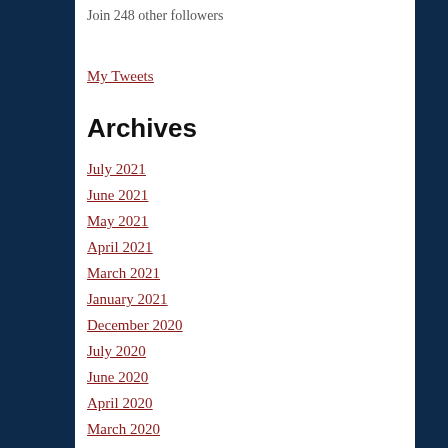Join 248 other followers
My Tweets
Archives
July 2021
June 2021
May 2021
April 2021
March 2021
January 2021
December 2020
July 2020
June 2020
April 2020
March 2020